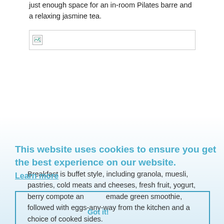just enough space for an in-room Pilates barre and a relaxing jasmine tea.
[Figure (photo): Broken/unloaded image placeholder with border]
This website uses cookies to ensure you get the best experience on our website.
Learn more
Breakfast is buffet style, including granola, muesli, pastries, cold meats and cheeses, fresh fruit, yogurt, berry compote and homemade green smoothie, followed with eggs-any-way from the kitchen and a choice of cooked sides.
Got it!